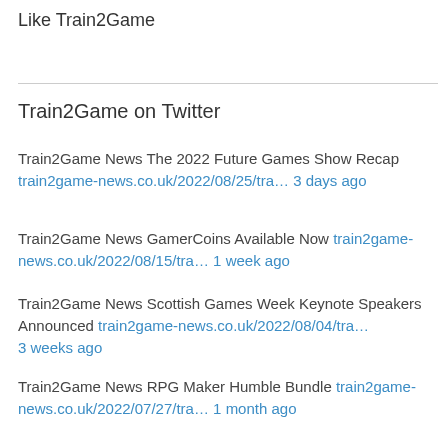Like Train2Game
Train2Game on Twitter
Train2Game News The 2022 Future Games Show Recap train2game-news.co.uk/2022/08/25/tra… 3 days ago
Train2Game News GamerCoins Available Now train2game-news.co.uk/2022/08/15/tra… 1 week ago
Train2Game News Scottish Games Week Keynote Speakers Announced train2game-news.co.uk/2022/08/04/tra… 3 weeks ago
Train2Game News RPG Maker Humble Bundle train2game-news.co.uk/2022/07/27/tra… 1 month ago
Train2Game News Square Enix Announced Mangas Based On Popular Games train2game-news.co.uk/2022/07/26/tra… 1 month ago